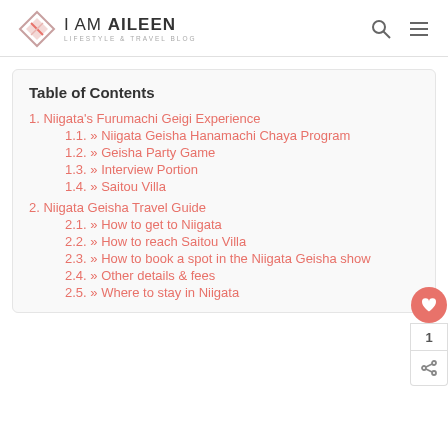i AM AiLEEN — LIFESTYLE & TRAVEL BLOG
Table of Contents
1. Niigata's Furumachi Geigi Experience
1.1. » Niigata Geisha Hanamachi Chaya Program
1.2. » Geisha Party Game
1.3. » Interview Portion
1.4. » Saitou Villa
2. Niigata Geisha Travel Guide
2.1. » How to get to Niigata
2.2. » How to reach Saitou Villa
2.3. » How to book a spot in the Niigata Geisha show
2.4. » Other details & fees
2.5. » Where to stay in Niigata